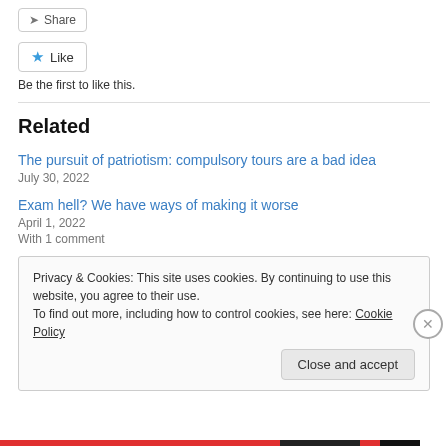Share
Like
Be the first to like this.
Related
The pursuit of patriotism: compulsory tours are a bad idea
July 30, 2022
Exam hell? We have ways of making it worse
April 1, 2022
With 1 comment
Privacy & Cookies: This site uses cookies. By continuing to use this website, you agree to their use.
To find out more, including how to control cookies, see here: Cookie Policy
Close and accept